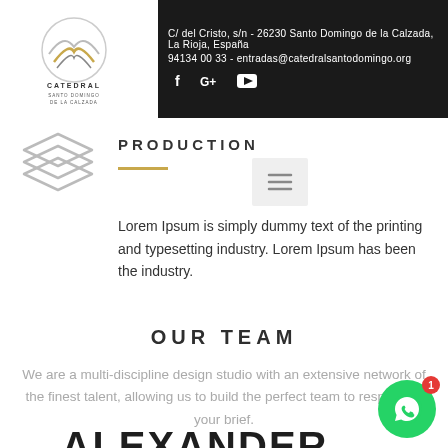C/ del Cristo, s/n - 26230 Santo Domingo de la Calzada, La Rioja, España
94134 00 33 - entradas@catedralsantodomingo.org
PRODUCTION
Lorem Ipsum is simply dummy text of the printing and typesetting industry. Lorem Ipsum has been the industry.
OUR TEAM
We are a multi-discipline design studio with an extensive network of the finest talent, allowing us to build the perfect team to respond to your brief.
ALEXANDER